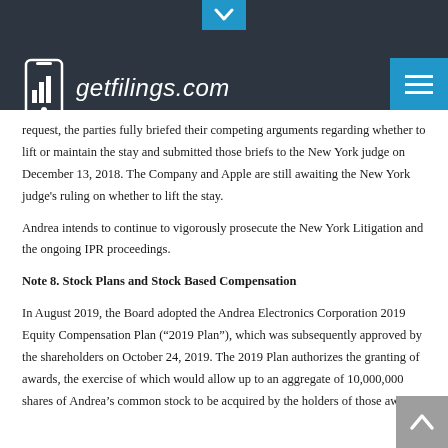getfilings.com
request, the parties fully briefed their competing arguments regarding whether to lift or maintain the stay and submitted those briefs to the New York judge on December 13, 2018. The Company and Apple are still awaiting the New York judge's ruling on whether to lift the stay.
Andrea intends to continue to vigorously prosecute the New York Litigation and the ongoing IPR proceedings.
Note 8. Stock Plans and Stock Based Compensation
In August 2019, the Board adopted the Andrea Electronics Corporation 2019 Equity Compensation Plan (“2019 Plan”), which was subsequently approved by the shareholders on October 24, 2019. The 2019 Plan authorizes the granting of awards, the exercise of which would allow up to an aggregate of 10,000,000 shares of Andrea’s common stock to be acquired by the holders of those awards.